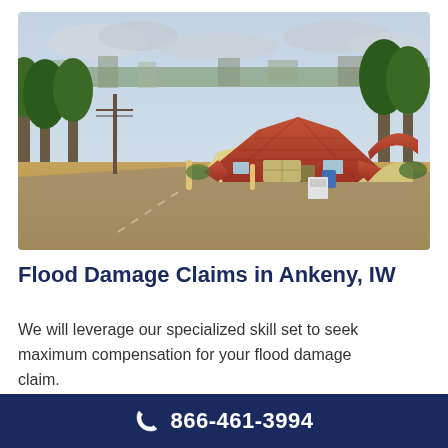[Figure (photo): Aerial view of a flooded residential neighborhood. A large house with an orange/red tiled roof sits amid brown floodwater. Trees are partially submerged. A flooded street runs through the scene.]
Flood Damage Claims in Ankeny, IW
We will leverage our specialized skill set to seek maximum compensation for your flood damage claim.
866-461-3994